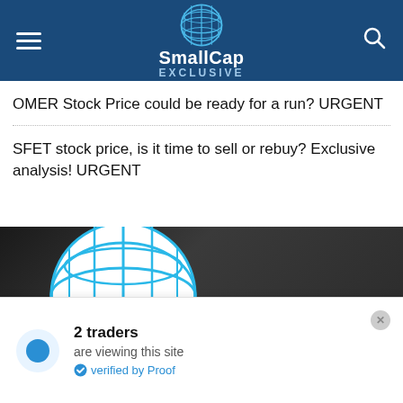SmallCap EXCLUSIVE
OMER Stock Price could be ready for a run? URGENT
SFET stock price, is it time to sell or rebuy? Exclusive analysis! URGENT
[Figure (screenshot): SmallCap Exclusive website screenshot showing the site logo (blue globe grid with SmallCap text) on a dark background]
2 traders are viewing this site verified by Proof